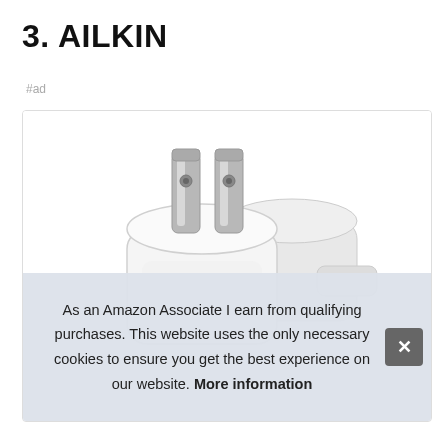3. AILKIN
#ad
[Figure (photo): White USB wall charger/power adapter with two metal prongs, shown from a top-angle view. Two charger units are visible side by side.]
As an Amazon Associate I earn from qualifying purchases. This website uses the only necessary cookies to ensure you get the best experience on our website. More information